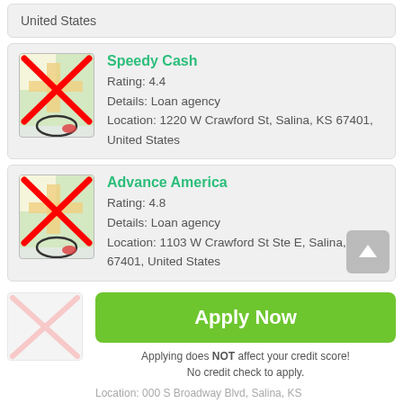United States
Speedy Cash
Rating: 4.4
Details: Loan agency
Location: 1220 W Crawford St, Salina, KS 67401, United States
Advance America
Rating: 4.8
Details: Loan agency
Location: 1103 W Crawford St Ste E, Salina, KS 67401, United States
Apply Now
Applying does NOT affect your credit score!
No credit check to apply.
Loanma...
Rating: ...
Details: ...
Location: 000 S Broadway Blvd, Salina, KS